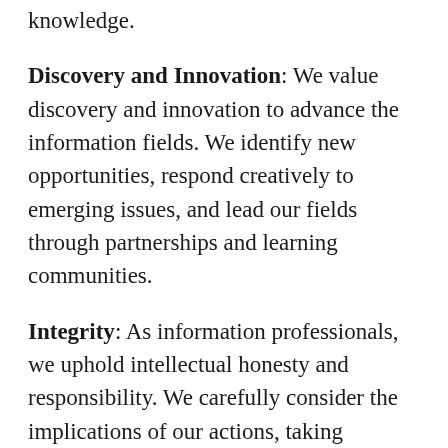knowledge.
Discovery and Innovation: We value discovery and innovation to advance the information fields. We identify new opportunities, respond creatively to emerging issues, and lead our fields through partnerships and learning communities.
Integrity: As information professionals, we uphold intellectual honesty and responsibility. We carefully consider the implications of our actions, taking fairness and equity into consideration. We contribute to, and promote, the highest standards for the ethical use of information and technology.